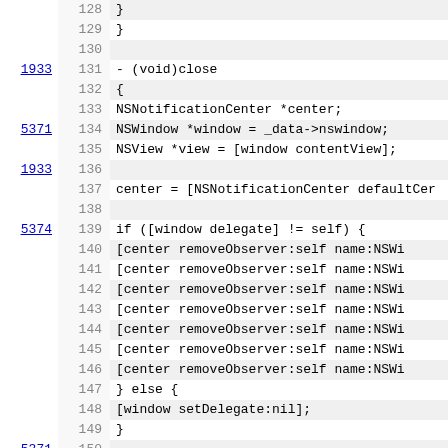Code listing lines 128-150 showing Objective-C close method implementation with NSNotificationCenter removeObserver calls
128     }
129 }
130
1933  131     - (void)close
132 {
133         NSNotificationCenter *center;
5371  134         NSWindow *window = _data->nswindow;
135         NSView *view = [window contentView];
1933  136
137         center = [NSNotificationCenter defaultCer
138
5374  139         if ([window delegate] != self) {
140             [center removeObserver:self name:NSWi
141             [center removeObserver:self name:NSWi
142             [center removeObserver:self name:NSWi
143             [center removeObserver:self name:NSWi
144             [center removeObserver:self name:NSWi
145             [center removeObserver:self name:NSWi
146             [center removeObserver:self name:NSWi
147         } else {
148             [window setDelegate:nil];
149         }
5371  150